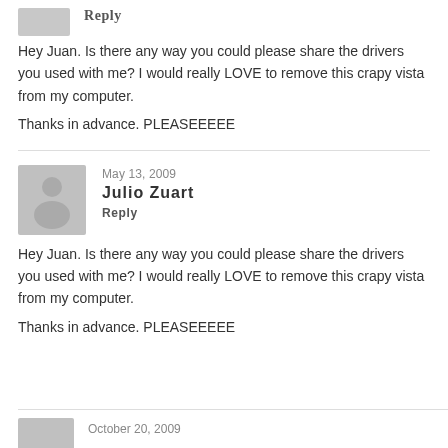Hey Juan. Is there any way you could please share the drivers you used with me? I would really LOVE to remove this crapy vista from my computer.

Thanks in advance. PLEASEEEEE
May 13, 2009
Julio Zuart
Reply
Hey Juan. Is there any way you could please share the drivers you used with me? I would really LOVE to remove this crapy vista from my computer.

Thanks in advance. PLEASEEEEE